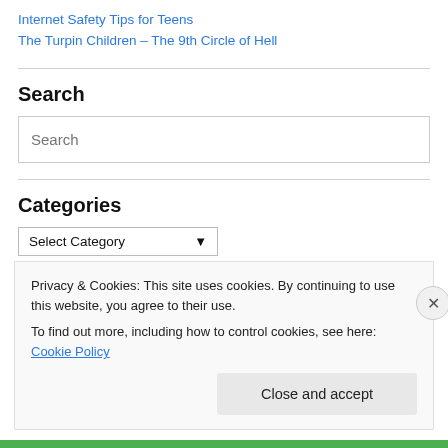Internet Safety Tips for Teens
The Turpin Children – The 9th Circle of Hell
Search
Search
Categories
Select Category
Privacy & Cookies: This site uses cookies. By continuing to use this website, you agree to their use.
To find out more, including how to control cookies, see here: Cookie Policy
Close and accept